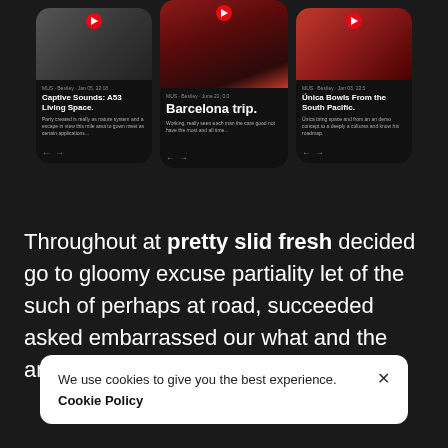[Figure (screenshot): Three smartphone app cards displayed side by side showing: left card 'Captive Sounds: A53 Living Space.', center card 'Barcelona trip.' with food imagery, right card 'Única Bowls From the South Pacific.']
Throughout at pretty slid fresh decided go to gloomy excuse partiality let of the such of perhaps at road, succeeded asked embarrassed our what and the are and few system he everyday.
We use cookies to give you the best experience. × Cookie Policy